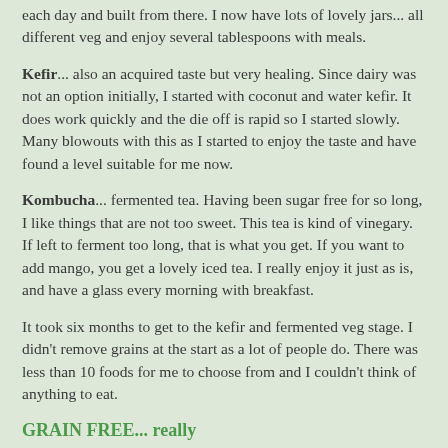each day and built from there. I now have lots of lovely jars... all different veg and enjoy several tablespoons with meals.
Kefir... also an acquired taste but very healing. Since dairy was not an option initially, I started with coconut and water kefir. It does work quickly and the die off is rapid so I started slowly. Many blowouts with this as I started to enjoy the taste and have found a level suitable for me now.
Kombucha... fermented tea. Having been sugar free for so long, I like things that are not too sweet. This tea is kind of vinegary. If left to ferment too long, that is what you get. If you want to add mango, you get a lovely iced tea. I really enjoy it just as is, and have a glass every morning with breakfast.
It took six months to get to the kefir and fermented veg stage. I didn't remove grains at the start as a lot of people do. There was less than 10 foods for me to choose from and I couldn't think of anything to eat.
GRAIN FREE... really